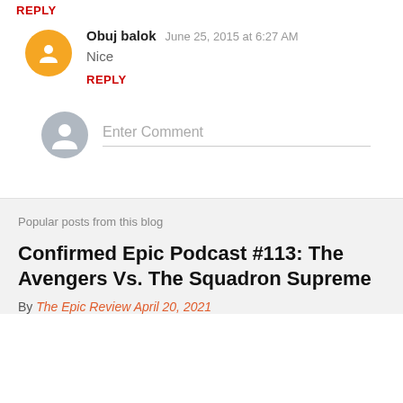REPLY
Obuj balok  June 25, 2015 at 6:27 AM
Nice
REPLY
Enter Comment
Popular posts from this blog
Confirmed Epic Podcast #113: The Avengers Vs. The Squadron Supreme
By The Epic Review April 20, 2021